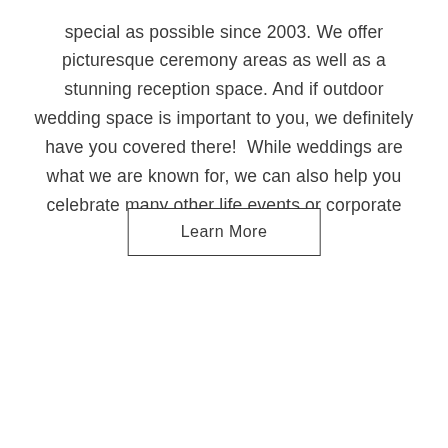special as possible since 2003. We offer picturesque ceremony areas as well as a stunning reception space. And if outdoor wedding space is important to you, we definitely have you covered there!  While weddings are what we are known for, we can also help you celebrate many other life events or corporate gatherings.
Learn More